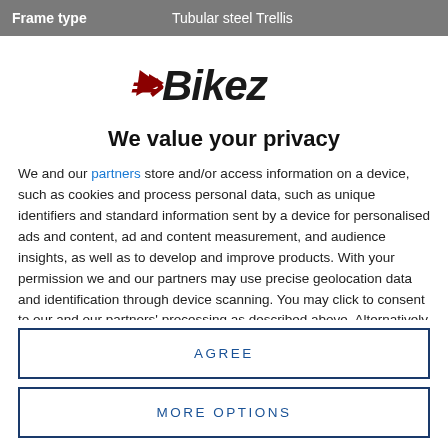| Frame type | Tubular steel Trellis |
| --- | --- |
[Figure (logo): Bikez logo with stylized arrow and italic bold text]
We value your privacy
We and our partners store and/or access information on a device, such as cookies and process personal data, such as unique identifiers and standard information sent by a device for personalised ads and content, ad and content measurement, and audience insights, as well as to develop and improve products. With your permission we and our partners may use precise geolocation data and identification through device scanning. You may click to consent to our and our partners' processing as described above. Alternatively you may access more detailed information and change your preferences before consenting or to refuse consenting. Please note that some processing of your
AGREE
MORE OPTIONS